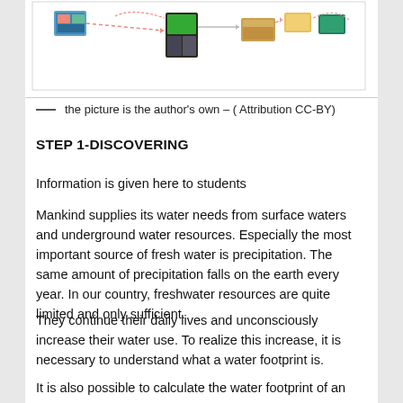[Figure (flowchart): A flowchart diagram showing interconnected images/nodes with arrows, depicting a sequence or process related to water resources. Partially visible at top of page.]
— the picture is the author's own – ( Attribution CC-BY)
STEP 1-DISCOVERING
Information is given here to students
Mankind supplies its water needs from surface waters and underground water resources. Especially the most important source of fresh water is precipitation. The same amount of precipitation falls on the earth every year. In our country, freshwater resources are quite limited and only sufficient.
They continue their daily lives and unconsciously increase their water use. To realize this increase, it is necessary to understand what a water footprint is.
It is also possible to calculate the water footprint of an